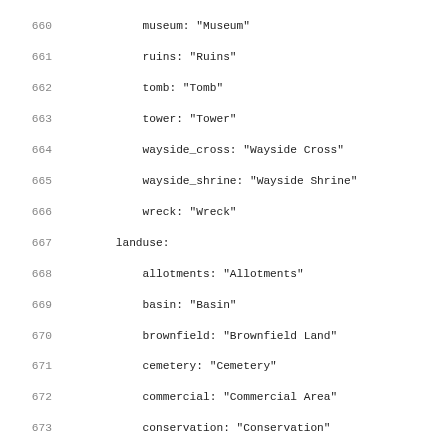660  museum: "Museum"
661  ruins: "Ruins"
662  tomb: "Tomb"
663  tower: "Tower"
664  wayside_cross: "Wayside Cross"
665  wayside_shrine: "Wayside Shrine"
666  wreck: "Wreck"
667  landuse:
668    allotments: "Allotments"
669    basin: "Basin"
670    brownfield: "Brownfield Land"
671    cemetery: "Cemetery"
672    commercial: "Commercial Area"
673    conservation: "Conservation"
674    construction: "Construction"
675    farm: "Farm"
676    farmland: "Farmland"
677    farmyard: "Farmyard"
678    forest: "Forest"
679    garages: "Garages"
680    grass: "Grass"
681    greenfield: "Greenfield Land"
682    industrial: "Industrial Area"
683    landfill: "Landfill"
684    meadow: "Meadow"
685    military: "Military Area"
686    mine: "Mine"
687    orchard: "Orchard"
688    nature_reserve: "Nature Reserve"
689    park: "Park"
690    piste: "Piste"
691    quarry: "Quarry"